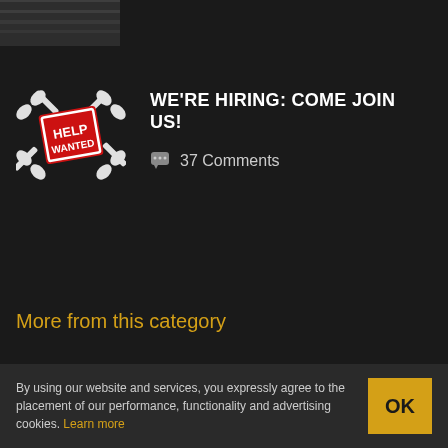[Figure (photo): Partial view of a dark textured image, cropped at top of page]
[Figure (illustration): Help Wanted sign with wrenches, red and white graphic]
WE'RE HIRING: COME JOIN US!
37 Comments
More from this category
By using our website and services, you expressly agree to the placement of our performance, functionality and advertising cookies. Learn more